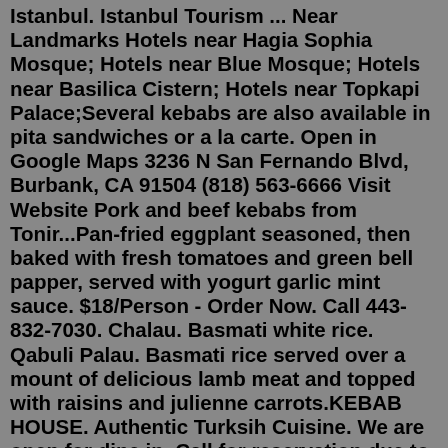Istanbul. Istanbul Tourism ... Near Landmarks Hotels near Hagia Sophia Mosque; Hotels near Blue Mosque; Hotels near Basilica Cistern; Hotels near Topkapi Palace;Several kebabs are also available in pita sandwiches or a la carte. Open in Google Maps 3236 N San Fernando Blvd, Burbank, CA 91504 (818) 563-6666 Visit Website Pork and beef kebabs from Tonir...Pan-fried eggplant seasoned, then baked with fresh tomatoes and green bell papper, served with yogurt garlic mint sauce. $18/Person - Order Now. Call 443-832-7030. Chalau. Basmati white rice. Qabuli Palau. Basmati rice served over a mount of delicious lamb meat and topped with raisins and julienne carrots.KEBAB HOUSE. Authentic Turksih Cuisine. We are open for dine in. Call for reservation due to limited seating. 516.333.8715 FREE DELIVERY. Fast and free delivery ... Get updates on promos & new kebab drops. Cookie. Duration. Description. cookielawinfo-checbox-analytics. 11 months. This cookie is set by GDPR Cookie Consent plugin. The cookie is used to store the user consent for